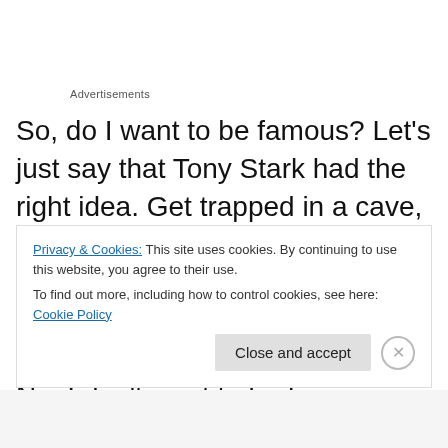Advertisements
So, do I want to be famous? Let’s just say that Tony Stark had the right idea.  Get trapped in a cave, create a suit of amour for protection, one that can fly away.  Then spend all my time in my man cave with my electronics.  No, I don’t want to be famous. When you are famous, you have to talk to people.  When you are famous, you have to get stalked by people.  You have to be admired by people.  I
Privacy & Cookies: This site uses cookies. By continuing to use this website, you agree to their use.
To find out more, including how to control cookies, see here: Cookie Policy